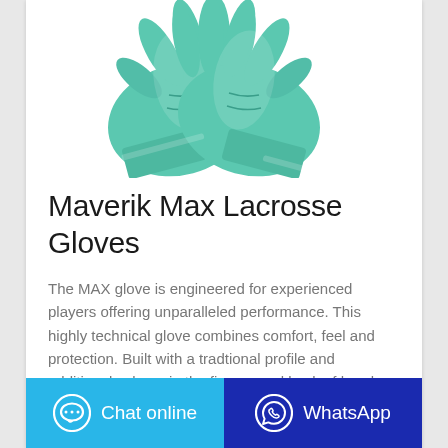[Figure (photo): Pair of teal/mint green Maverik Max Lacrosse Gloves photographed from above against white background]
Maverik Max Lacrosse Gloves
The MAX glove is engineered for experienced players offering unparalleled performance. This highly technical glove combines comfort, feel and protection. Built with a tradtional profile and additional volume in the fingers and back of hand; not too tig
Chat online
WhatsApp